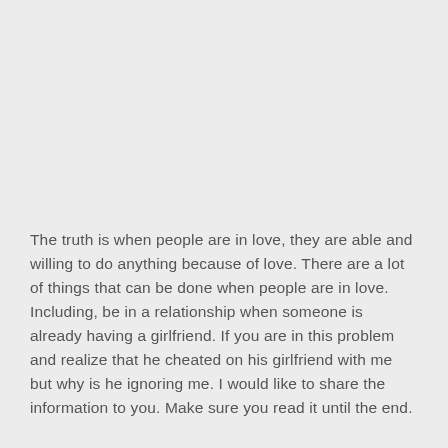The truth is when people are in love, they are able and willing to do anything because of love. There are a lot of things that can be done when people are in love. Including, be in a relationship when someone is already having a girlfriend. If you are in this problem and realize that he cheated on his girlfriend with me but why is he ignoring me. I would like to share the information to you. Make sure you read it until the end.